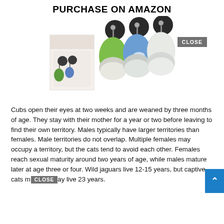PURCHASE ON AMAZON
[Figure (photo): Product photo of portable silicone travel bottles with retractable badge reel clips, shown in green, blue, and clear/white, with product box packaging on the left. A grey 'CLOSE' button overlay appears top right.]
Cubs open their eyes at two weeks and are weaned by three months of age. They stay with their mother for a year or two before leaving to find their own territory. Males typically have larger territories than females. Male territories do not overlap. Multiple females may occupy a territory, but the cats tend to avoid each other. Females reach sexual maturity around two years of age, while males mature later at age three or four. Wild jaguars live 12-15 years, but captive cats may live 23 years.